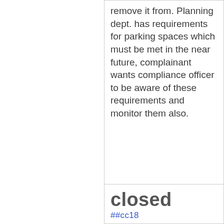remove it from. Planning dept. has requirements for parking spaces which must be met in the near future, complainant wants compliance officer to be aware of these requirements and monitor them also.
closed ##cc18...